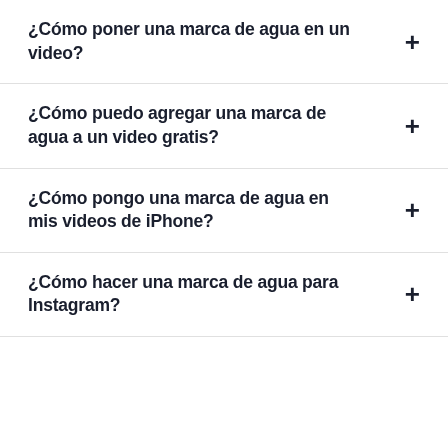¿Cómo poner una marca de agua en un video?
¿Cómo puedo agregar una marca de agua a un video gratis?
¿Cómo pongo una marca de agua en mis videos de iPhone?
¿Cómo hacer una marca de agua para Instagram?